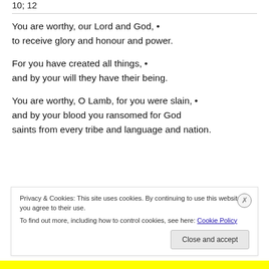10; 12
You are worthy, our Lord and God, •
to receive glory and honour and power.
For you have created all things, •
and by your will they have their being.
You are worthy, O Lamb, for you were slain, •
and by your blood you ransomed for God
saints from every tribe and language and nation.
You have made them to be a kingdom and priests
Privacy & Cookies: This site uses cookies. By continuing to use this website, you agree to their use.
To find out more, including how to control cookies, see here: Cookie Policy